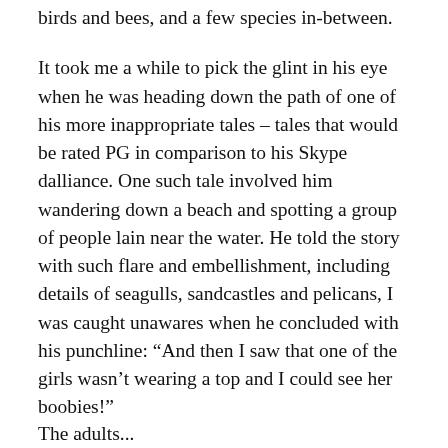birds and bees, and a few species in-between.
It took me a while to pick the glint in his eye when he was heading down the path of one of his more inappropriate tales – tales that would be rated PG in comparison to his Skype dalliance. One such tale involved him wandering down a beach and spotting a group of people lain near the water. He told the story with such flare and embellishment, including details of seagulls, sandcastles and pelicans, I was caught unawares when he concluded with his punchline: “And then I saw that one of the girls wasn’t wearing a top and I could see her boobies!”
The conclusion was met with raucous laughter from the class, again fuelling his delicate ego and curing his low self-esteem.
The adults...